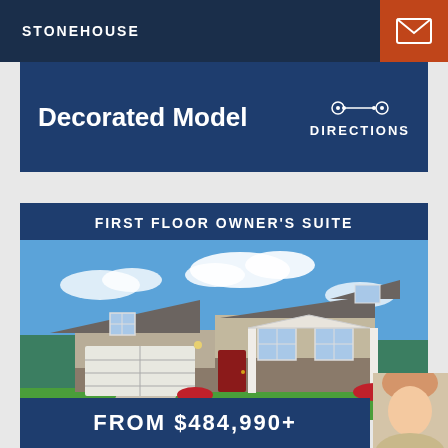STONEHOUSE
Decorated Model
DIRECTIONS
FIRST FLOOR OWNER'S SUITE
[Figure (photo): Exterior photo of a craftsman-style single-story home with tan/beige siding, stone accents, dark gray roof, white trim, two-car garage, red front door, covered porch with white columns, blue sky with clouds in background, green lawn and landscaping in foreground]
FROM $484,990+